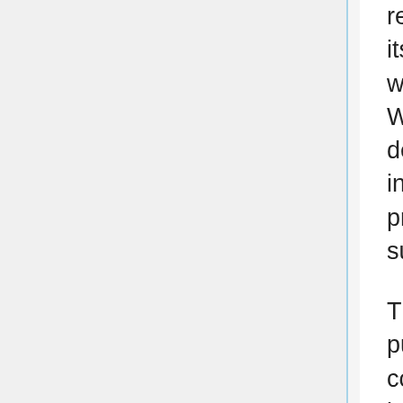regulatory framework that includes Wikipedia in its scope. Whilst this could impact on the way in which Wikimedia is able to operate in the UK, the White Paper also outlines plans for the development of a new Government-led media and information literacy strategy, which our own work promoting digital literacy skills could potentially support and inform.
There are more immediate threats in terms of public policy which may have a bearing on the conditions for open knowledge. These include the implementation of the EU copyright directive, including the controversial Articles 11 and 13 (Articles 15 and 17 in the final directive) and the potential dismantling of certain elements of the e-Commerce Directive during the process